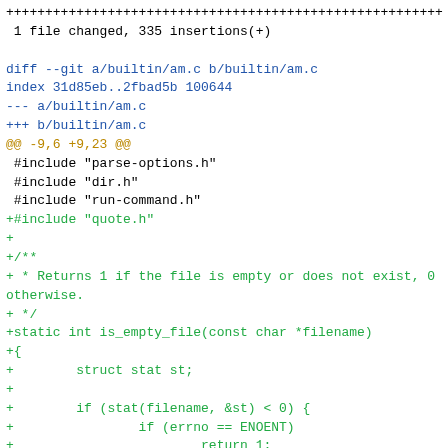++++++++++++++++++++++++++++++++++++++++++++++++++++++++
 1 file changed, 335 insertions(+)

diff --git a/builtin/am.c b/builtin/am.c
index 31d85eb..2fbad5b 100644
--- a/builtin/am.c
+++ b/builtin/am.c
@@ -9,6 +9,23 @@
 #include "parse-options.h"
 #include "dir.h"
 #include "run-command.h"
+#include "quote.h"
+
+/**
+ * Returns 1 if the file is empty or does not exist, 0
otherwise.
+ */
+static int is_empty_file(const char *filename)
+{
+        struct stat st;
+
+        if (stat(filename, &st) < 0) {
+                if (errno == ENOENT)
+                        return 1;
+                die_errno(_("could not stat %s"),
filename);
+        }
+
+        return !st.st_size;
+}